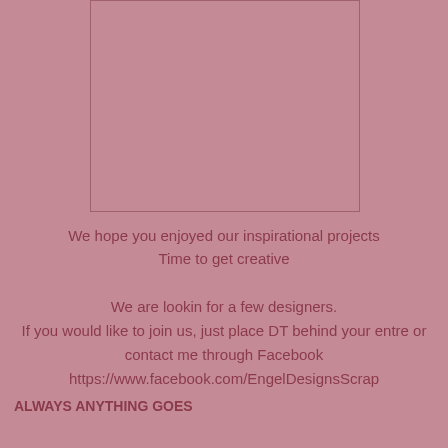[Figure (other): Image placeholder rectangle with pink border on mauve background]
We hope you enjoyed our inspirational projects
Time to get creative
We are lookin for a few designers.
If you would like to join us, just place DT behind your entre or contact me through Facebook
https://www.facebook.com/EngelDesignsScrap
ALWAYS ANYTHING GOES